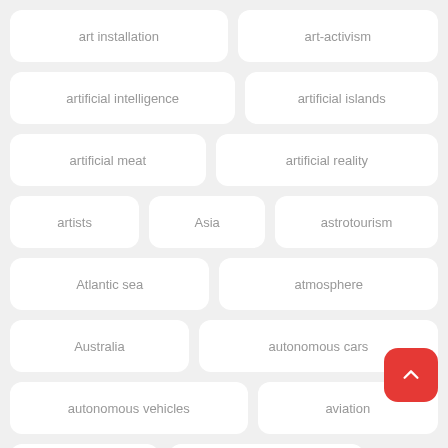art installation
art-activism
artificial intelligence
artificial islands
artificial meat
artificial reality
artists
Asia
astrotourism
Atlantic sea
atmosphere
Australia
autonomous cars
autonomous vehicles
aviation
awareness
awareness campaign
Azraq
Bahrain
Bahrain Mall